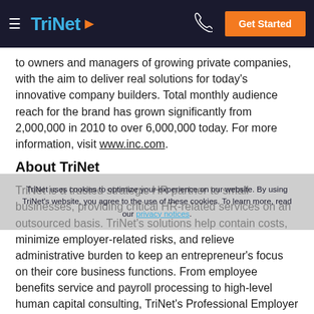TriNet | Get Started
to owners and managers of growing private companies, with the aim to deliver real solutions for today's innovative company builders. Total monthly audience reach for the brand has grown significantly from 2,000,000 in 2010 to over 6,000,000 today. For more information, visit www.inc.com.
About TriNet
TriNet is a trusted strategic HR partner to small businesses, providing critical HR-related services on an outsourced basis. TriNet's solutions help contain costs, minimize employer-related risks, and relieve administrative burden to keep an entrepreneur's focus on their core business functions. From employee benefits service and payroll processing to high-level human capital consulting, TriNet's Professional Employer Organization (PEO) expertise is integrated with every facet of a client's business. TriNet specializes in serving fast-moving companies in fields such